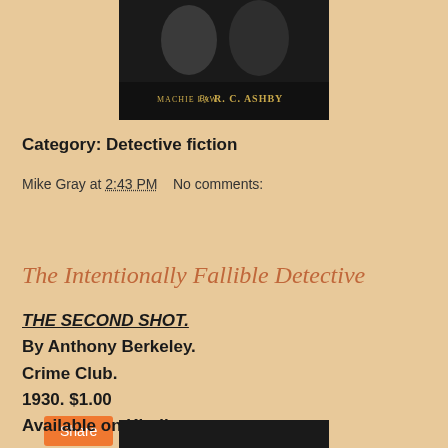[Figure (photo): Book cover image showing a dark illustration with text 'By R. C. ASHBY' and 'MACHIE LAW']
Category: Detective fiction
Mike Gray at 2:43 PM    No comments:
Share
The Intentionally Fallible Detective
THE SECOND SHOT.
By Anthony Berkeley.
Crime Club.
1930. $1.00
Available on Kindle.
[Figure (photo): Bottom portion of another book cover image, dark background]